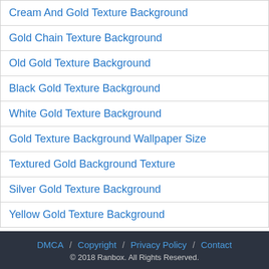Cream And Gold Texture Background
Gold Chain Texture Background
Old Gold Texture Background
Black Gold Texture Background
White Gold Texture Background
Gold Texture Background Wallpaper Size
Textured Gold Background Texture
Silver Gold Texture Background
Yellow Gold Texture Background
DMCA / Copyright / Privacy Policy / Contact © 2018 Ranbox. All Rights Reserved.